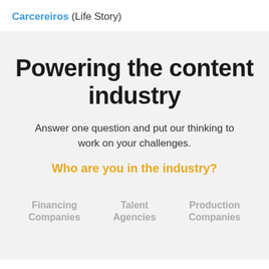Carcereiros (Life Story)
Powering the content industry
Answer one question and put our thinking to work on your challenges.
Who are you in the industry?
Financing Companies
Talent Agencies
Production Companies